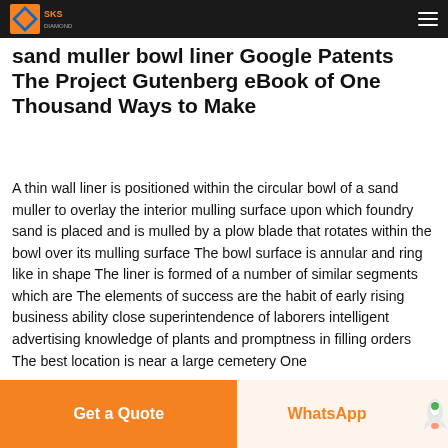SKS [logo] sand muller bowl liner Google Patents
The Project Gutenberg eBook of One Thousand Ways to Make
A thin wall liner is positioned within the circular bowl of a sand muller to overlay the interior mulling surface upon which foundry sand is placed and is mulled by a plow blade that rotates within the bowl over its mulling surface The bowl surface is annular and ring like in shape The liner is formed of a number of similar segments which are The elements of success are the habit of early rising business ability close superintendence of laborers intelligent advertising knowledge of plants and promptness in filling orders The best location is near a large cemetery One
Get a Quote   WhatsApp